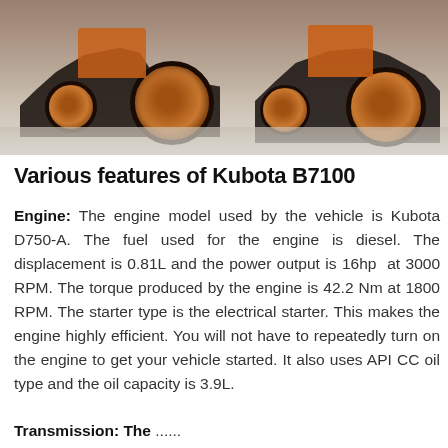[Figure (photo): Photograph of a Kubota B7100 tractor with orange wheels and black body on a gravel/concrete surface, viewed from the side showing two tractors or the same tractor from different angles.]
Various features of Kubota B7100
Engine: The engine model used by the vehicle is Kubota D750-A. The fuel used for the engine is diesel. The displacement is 0.81L and the power output is 16hp at 3000 RPM. The torque produced by the engine is 42.2 Nm at 1800 RPM. The starter type is the electrical starter. This makes the engine highly efficient. You will not have to repeatedly turn on the engine to get your vehicle started. It also uses API CC oil type and the oil capacity is 3.9L.
Transmission: The ...